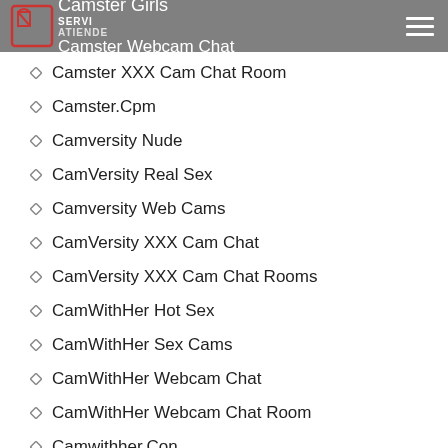Servi Atiende | Camster Girls | Camster Webcam Chat
Camster XXX Cam Chat Room
Camster.Cpm
Camversity Nude
CamVersity Real Sex
Camversity Web Cams
CamVersity XXX Cam Chat
CamVersity XXX Cam Chat Rooms
CamWithHer Hot Sex
CamWithHer Sex Cams
CamWithHer Webcam Chat
CamWithHer Webcam Chat Room
Camwithher.Con
Camwithherr
car title loan orlando fl
car title loan orlando florida